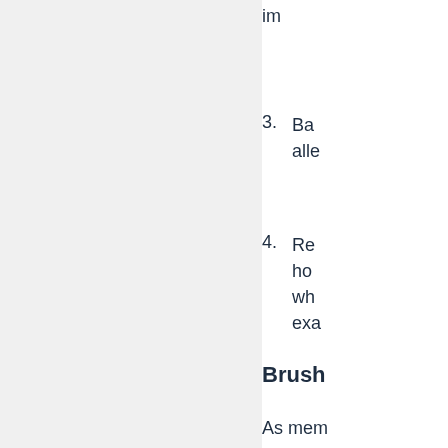im
3.  Ba alle
4.  Re ho wh exa
Brush
As mem